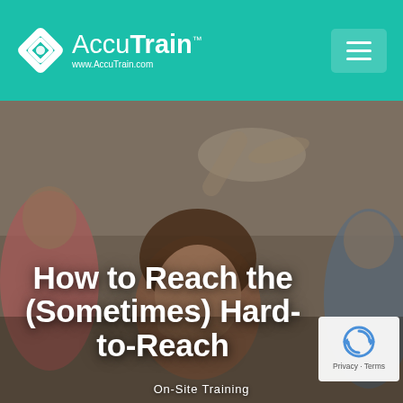AccuTrain www.AccuTrain.com
[Figure (photo): Background photo of students in a classroom setting, with a blurred figure pointing in the background and a young woman in the foreground looking distressed or thoughtful.]
How to Reach the (Sometimes) Hard-to-Reach
On-Site Training